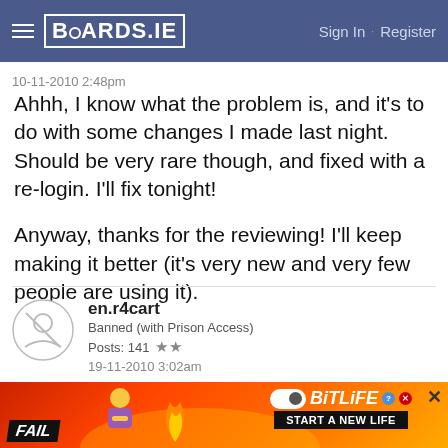BOARDS.IE  Sign In · Register
10-11-2010 2:48pm
Ahhh, I know what the problem is, and it's to do with some changes I made last night. Should be very rare though, and fixed with a re-login. I'll fix tonight!

Anyway, thanks for the reviewing! I'll keep making it better (it's very new and very few people are using it).
en.r4cart
Banned (with Prison Access)
Posts: 141 ★★
19-11-2010 3:02am
[Figure (screenshot): Advertisement banner for BitLife game showing FAIL text, animated character, flames, and 'START A NEW LIFE' text on red/orange background]